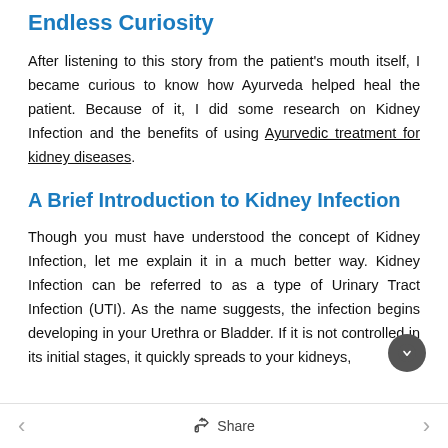Endless Curiosity
After listening to this story from the patient's mouth itself, I became curious to know how Ayurveda helped heal the patient. Because of it, I did some research on Kidney Infection and the benefits of using Ayurvedic treatment for kidney diseases.
A Brief Introduction to Kidney Infection
Though you must have understood the concept of Kidney Infection, let me explain it in a much better way. Kidney Infection can be referred to as a type of Urinary Tract Infection (UTI). As the name suggests, the infection begins developing in your Urethra or Bladder. If it is not controlled in its initial stages, it quickly spreads to your kidneys,
Share